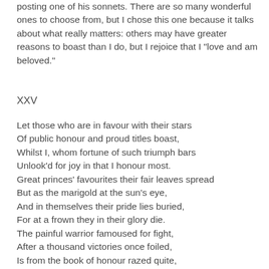posting one of his sonnets. There are so many wonderful ones to choose from, but I chose this one because it talks about what really matters: others may have greater reasons to boast than I do, but I rejoice that I "love and am beloved."
XXV
Let those who are in favour with their stars
Of public honour and proud titles boast,
Whilst I, whom fortune of such triumph bars
Unlook'd for joy in that I honour most.
Great princes' favourites their fair leaves spread
But as the marigold at the sun's eye,
And in themselves their pride lies buried,
For at a frown they in their glory die.
The painful warrior famoused for fight,
After a thousand victories once foiled,
Is from the book of honour razed quite,
And all the rest forgot for which he toiled:
Then happy I, that love and am beloved,
Where I may not remove nor be removed.